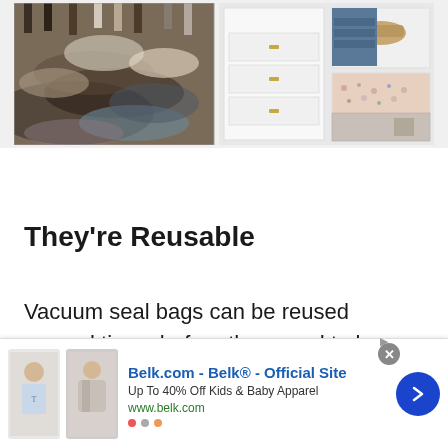[Figure (photo): Before-and-after comparison: left side shows a messy pile of clothes, right side shows an organized closet with white drawers and neatly folded items]
They're Reusable
Vacuum seal bags can be reused several times before they need to be replaced. After all of the air is
[Figure (other): Advertisement banner: Belk.com - Belk® - Official Site. Up To 40% Off Kids & Baby Apparel. www.belk.com]